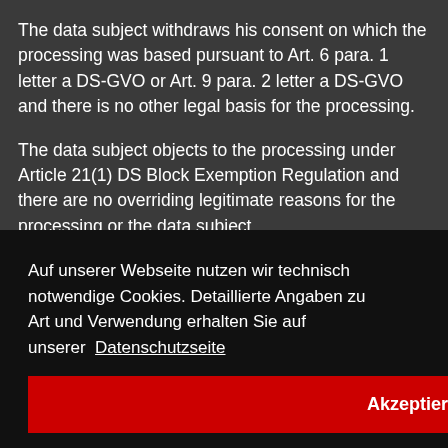The data subject withdraws his consent on which the processing was based pursuant to Art. 6 para. 1 letter a DS-GVO or Art. 9 para. 2 letter a DS-GVO and there is no other legal basis for the processing.
The data subject objects to the processing under Article 21(1) DS Block Exemption Regulation and there are no overriding legitimate reasons for the processing or the data subject
Auf unserer Webseite nutzen wir technisch notwendige Cookies. Detaillierte Angaben zu Art und Verwendung erhalten Sie auf unserer  Datenschutzseite
Akzeptieren
a legal
states
ation
GVO.
society services offered pursuant to Art. 8 para. 1 DS-GVO.